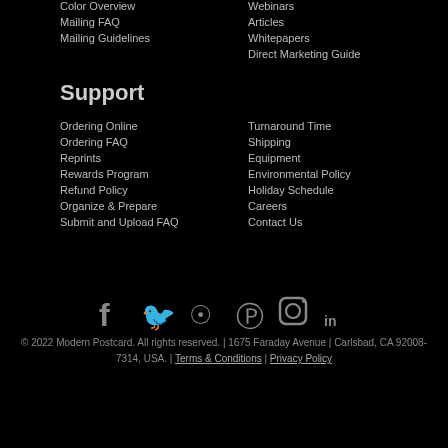Color Overview
Mailing FAQ
Mailing Guidelines
Webinars
Articles
Whitepapers
Direct Marketing Guide
Support
Ordering Online
Ordering FAQ
Reprints
Rewards Program
Refund Policy
Organize & Prepare
Submit and Upload FAQ
Turnaround Time
Shipping
Equipment
Environmental Policy
Holiday Schedule
Careers
Contact Us
[Figure (infographic): Social media icons: Facebook, Twitter, RSS, Pinterest, Instagram, LinkedIn]
© 2022 Modern Postcard. All rights reserved. | 1675 Faraday Avenue | Carlsbad, CA 92008-7314, USA. | Terms & Conditions | Privacy Policy